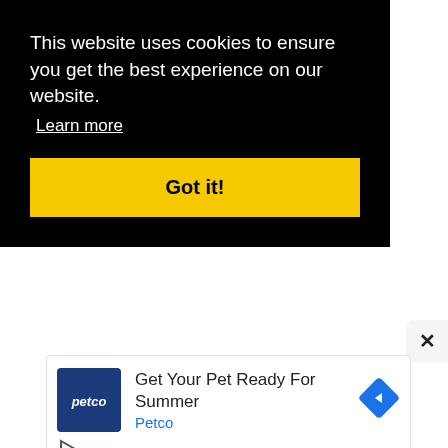This website uses cookies to ensure you get the best experience on our website.
Learn more
Got it!
×
[Figure (screenshot): Petco advertisement banner showing a Petco logo, text 'Get Your Pet Ready For Summer', brand name 'Petco', a blue navigation arrow diamond icon, and a play button triangle.]
Get Your Pet Ready For Summer
Petco